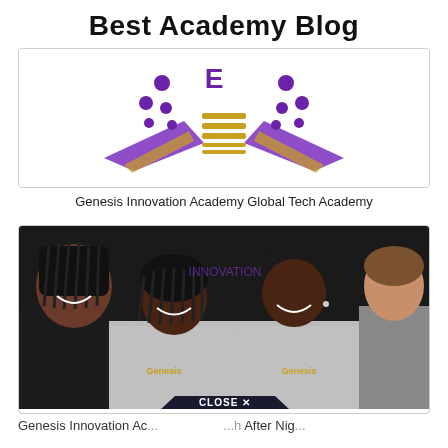Best Academy Blog
[Figure (logo): Genesis Innovation Academy Global Tech Academy logo with purple and gold design featuring abstract figures and mortarboard]
Genesis Innovation Academy Global Tech Academy
[Figure (photo): Students wearing Genesis Innovation Academy gray hoodies smiling outdoors in front of a sign]
Genesis Innovation Ac... ...h After Nig...